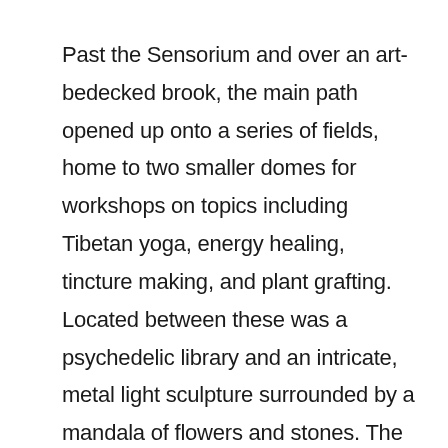Past the Sensorium and over an art-bedecked brook, the main path opened up onto a series of fields, home to two smaller domes for workshops on topics including Tibetan yoga, energy healing, tincture making, and plant grafting. Located between these was a psychedelic library and an intricate, metal light sculpture surrounded by a mandala of flowers and stones. The path continued on towards the cabin, leading past a ring of organic and natural food and tea vendors with elaborate seating areas of tables, cushions, and carpeting. From this central location, the campsite branched off to the right, completing the main elements of